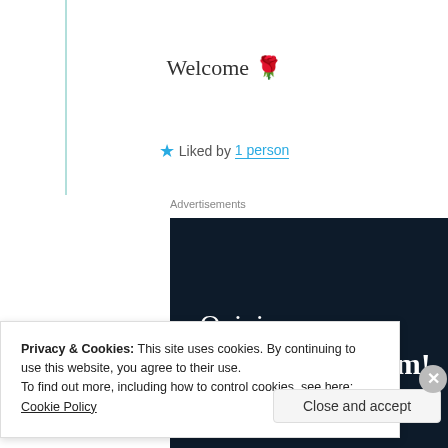Welcome 🌹
★ Liked by 1 person
Advertisements
[Figure (screenshot): WordPress advertisement banner with dark navy background showing 'Opinions. We all have them!' text with WordPress logo, pink button, and grey circle.]
Privacy & Cookies: This site uses cookies. By continuing to use this website, you agree to their use.
To find out more, including how to control cookies, see here: Cookie Policy
Close and accept